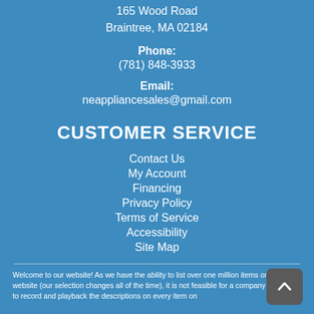165 Wood Road
Braintree, MA 02184
Phone:
(781) 848-3933
Email:
neappliancesales@gmail.com
CUSTOMER SERVICE
Contact Us
My Account
Financing
Privacy Policy
Terms of Service
Accessibility
Site Map
Welcome to our website! As we have the ability to list over one million items on our website (our selection changes all of the time), it is not feasible for a company our size to record and playback the descriptions on every item on